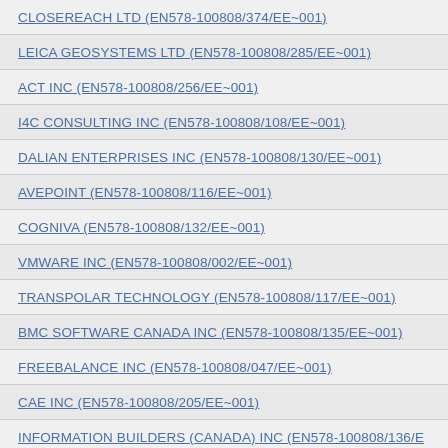CLOSEREACH LTD (EN578-100808/374/EE~001)
LEICA GEOSYSTEMS LTD (EN578-100808/285/EE~001)
ACT INC (EN578-100808/256/EE~001)
I4C CONSULTING INC (EN578-100808/108/EE~001)
DALIAN ENTERPRISES INC (EN578-100808/130/EE~001)
AVEPOINT (EN578-100808/116/EE~001)
COGNIVA (EN578-100808/132/EE~001)
VMWARE INC (EN578-100808/002/EE~001)
TRANSPOLAR TECHNOLOGY (EN578-100808/117/EE~001)
BMC SOFTWARE CANADA INC (EN578-100808/135/EE~001)
FREEBALANCE INC (EN578-100808/047/EE~001)
CAE INC (EN578-100808/205/EE~001)
INFORMATION BUILDERS (CANADA) INC (EN578-100808/136/E
THE IT BROKER INC (EN578-100808/118/EE~001)
OPTIV CANADA FEDERAL INC. (EN578-100808/092/EE~002)